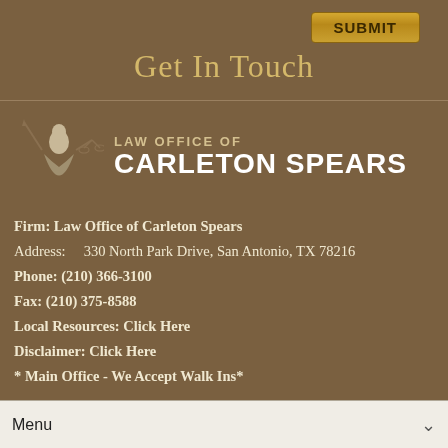SUBMIT
Get In Touch
[Figure (logo): Lady Justice statue logo with scales, beside text reading LAW OFFICE OF CARLETON SPEARS]
Firm: Law Office of Carleton Spears
Address:    330 North Park Drive, San Antonio, TX 78216
Phone: (210) 366-3100
Fax: (210) 375-8588
Local Resources: Click Here
Disclaimer: Click Here
* Main Office - We Accept Walk Ins*
Menu